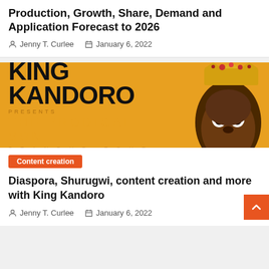Production, Growth, Share, Demand and Application Forecast to 2026
Jenny T. Curlee   January 6, 2022
[Figure (photo): King Kandoro presents The Prodigal Son standup tour banner with a man wearing a gold crown on an orange background]
Content creation
Diaspora, Shurugwi, content creation and more with King Kandoro
Jenny T. Curlee   January 6, 2022